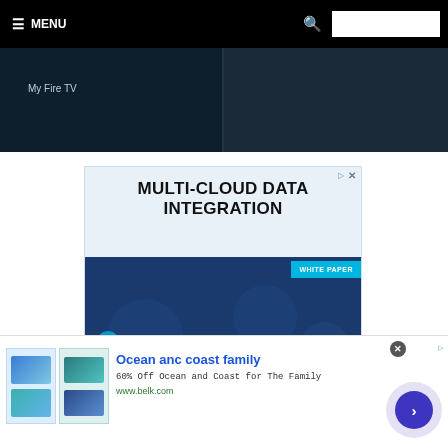≡ MENU
[Figure (screenshot): Fire TV settings screen showing 'My Fire TV' menu item on dark background]
[Figure (infographic): Advertisement for StreamSets Multi-Cloud Data Integration White Paper. Dark blue and light blue design with StreamSets logo.]
[Figure (infographic): Bottom banner advertisement: Ocean anc coast family - 60% Off Ocean and Coast for The Family. www.belk.com with clothing images and arrow button.]